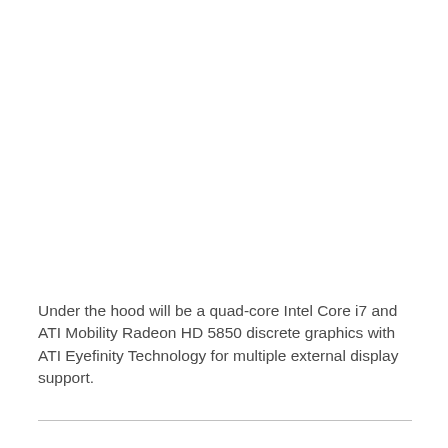Under the hood will be a quad-core Intel Core i7 and ATI Mobility Radeon HD 5850 discrete graphics with ATI Eyefinity Technology for multiple external display support.